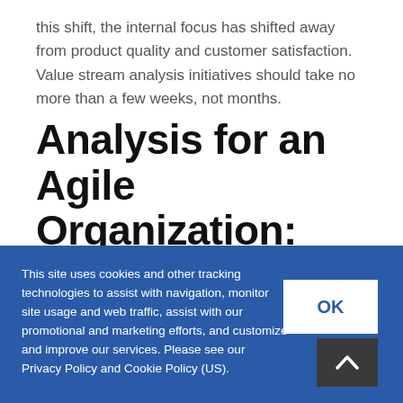this shift, the internal focus has shifted away from product quality and customer satisfaction. Value stream analysis initiatives should take no more than a few weeks, not months.
Analysis for an Agile Organization: Where do Value Streams Fit?
This site uses cookies and other tracking technologies to assist with navigation, monitor site usage and web traffic, assist with our promotional and marketing efforts, and customize and improve our services. Please see our Privacy Policy and Cookie Policy (US).